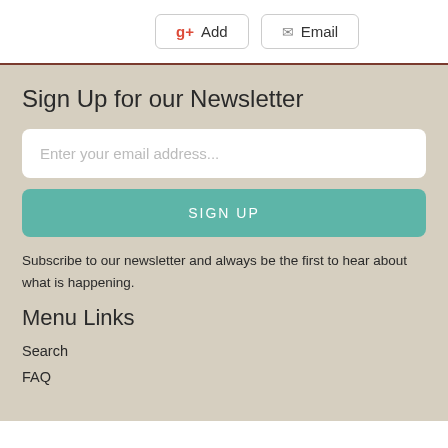Add   Email
Sign Up for our Newsletter
Enter your email address...
SIGN UP
Subscribe to our newsletter and always be the first to hear about what is happening.
Menu Links
Search
FAQ